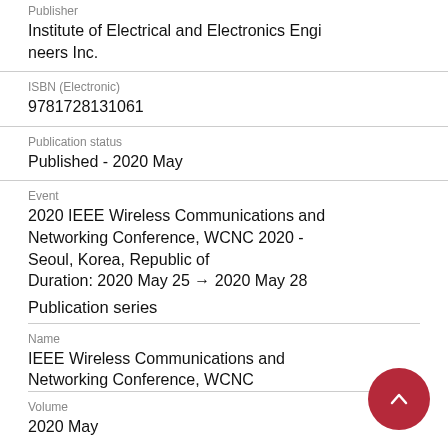Publisher
Institute of Electrical and Electronics Engineers Inc.
ISBN (Electronic)
9781728131061
Publication status
Published - 2020 May
Event
2020 IEEE Wireless Communications and Networking Conference, WCNC 2020 - Seoul, Korea, Republic of
Duration: 2020 May 25 → 2020 May 28
Publication series
Name
IEEE Wireless Communications and Networking Conference, WCNC
Volume
2020 May